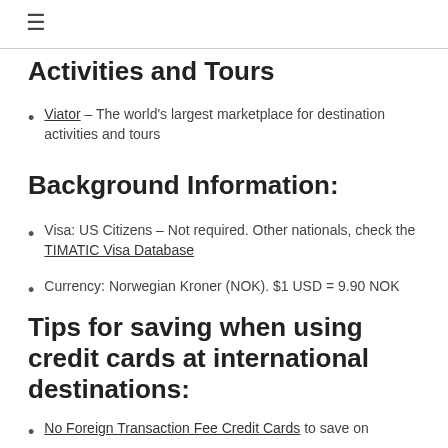≡
Activities and Tours
Viator – The world's largest marketplace for destination activities and tours
Background Information:
Visa: US Citizens – Not required. Other nationals, check the TIMATIC Visa Database
Currency: Norwegian Kroner (NOK). $1 USD = 9.90 NOK
Tips for saving when using credit cards at international destinations:
No Foreign Transaction Fee Credit Cards to save on